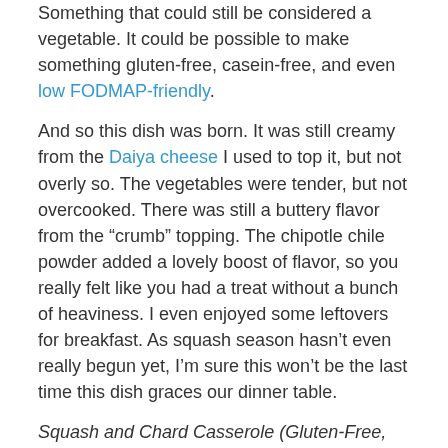Something that could still be considered a vegetable. It could be possible to make something gluten-free, casein-free, and even low FODMAP-friendly.
And so this dish was born. It was still creamy from the Daiya cheese I used to top it, but not overly so. The vegetables were tender, but not overcooked. There was still a buttery flavor from the “crumb” topping. The chipotle chile powder added a lovely boost of flavor, so you really felt like you had a treat without a bunch of heaviness. I even enjoyed some leftovers for breakfast. As squash season hasn’t even really begun yet, I’m sure this won’t be the last time this dish graces our dinner table.
Squash and Chard Casserole (Gluten-Free, Casein-Free)
1 bunch swiss chard